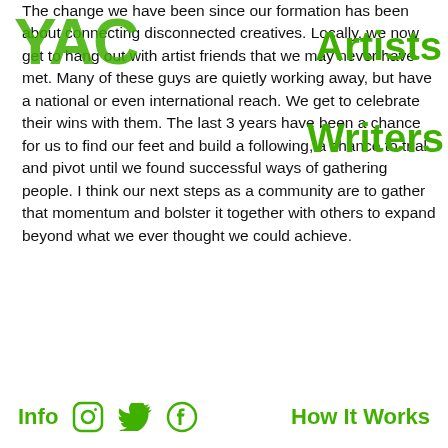The change we have seen since our formation has been about connecting disconnected creatives. Locally, we now get to hang out with artist friends that we may never have met. Many of these guys are quietly working away, but have a national or even international reach. We get to celebrate their wins with them. The last 3 years have been a chance for us to find our feet and build a following, a chance to trial and pivot until we found successful ways of gathering people. I think our next steps as a community are to gather that momentum and bolster it together with others to expand beyond what we ever thought we could achieve.
[Figure (other): YAC logo text overlay in large bold green letters, partially overlapping the main text]
[Figure (other): Word 'Artists' in large bold green letters overlaid top-right of the text]
[Figure (other): Word 'Writers' in large bold green letters overlaid right side of the text]
Info  [Instagram icon]  [Twitter icon]  [Facebook icon]    How It Works